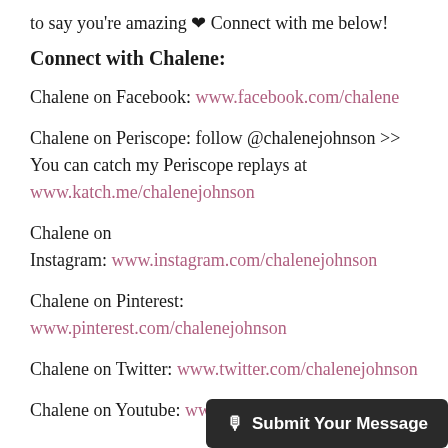to say you're amazing ❤ Connect with me below!
Connect with Chalene:
Chalene on Facebook: www.facebook.com/chalene
Chalene on Periscope: follow @chalenejohnson >> You can catch my Periscope replays at www.katch.me/chalenejohnson
Chalene on Instagram: www.instagram.com/chalenejohnson
Chalene on Pinterest: www.pinterest.com/chalenejohnson
Chalene on Twitter: www.twitter.com/chalenejohnson
Chalene on Youtube: www...